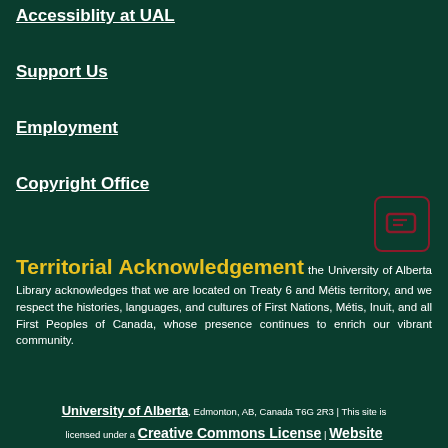Accessiblity at UAL
Support Us
Employment
Copyright Office
Territorial Acknowledgement the University of Alberta Library acknowledges that we are located on Treaty 6 and Métis territory, and we respect the histories, languages, and cultures of First Nations, Métis, Inuit, and all First Peoples of Canada, whose presence continues to enrich our vibrant community.
University of Alberta, Edmonton, AB, Canada T6G 2R3 | This site is licensed under a Creative Commons License | Website